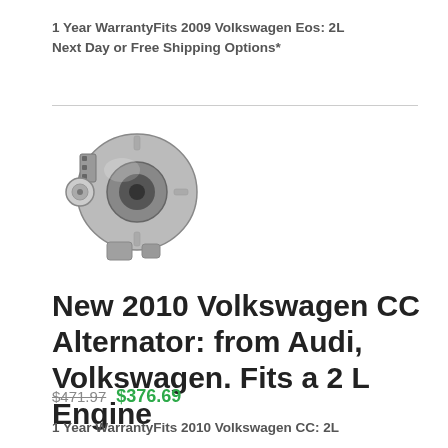1 Year WarrantyFits 2009 Volkswagen Eos: 2L Next Day or Free Shipping Options*
[Figure (photo): Photo of an alternator, silver/gray colored automotive alternator component]
New 2010 Volkswagen CC Alternator: from Audi, Volkswagen. Fits a 2 L Engine
$471.97 $376.69
1 Year WarrantyFits 2010 Volkswagen CC: 2L